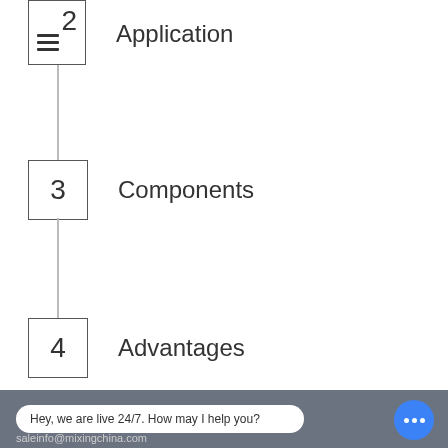2 Application
3 Components
4 Advantages
5 Drawing
Hey, we are live 24/7. How may I help you?
saleinfo@mixingchina.com